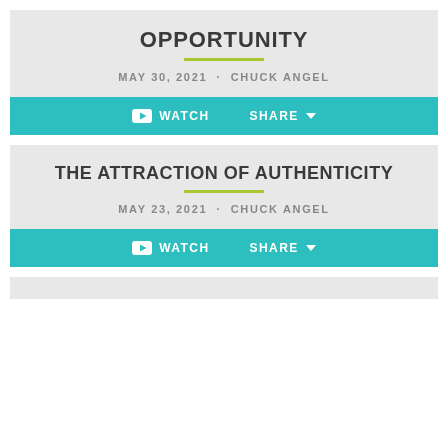OPPORTUNITY
MAY 30, 2021 · CHUCK ANGEL
WATCH   SHARE
THE ATTRACTION OF AUTHENTICITY
MAY 23, 2021 · CHUCK ANGEL
WATCH   SHARE